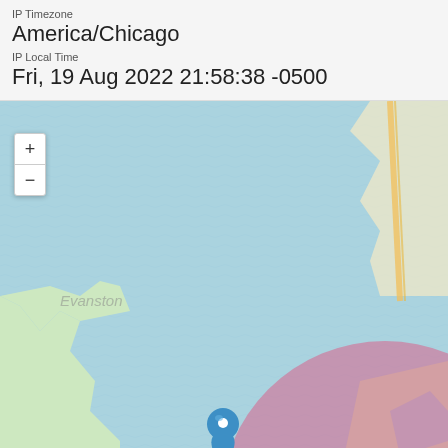IP Timezone
America/Chicago
IP Local Time
Fri, 19 Aug 2022 21:58:38 -0500
[Figure (map): Interactive map showing location in Lake Michigan area near Chicago. A pink circle with radius indicating approximate location surrounds a blue map marker pin. Map shows water in blue with wave texture, green land areas. Zoom in/out controls visible on the left. Attribution: Leaflet | © Stadia Maps; © OpenMapTiles; © OpenStreetMap contributors.]